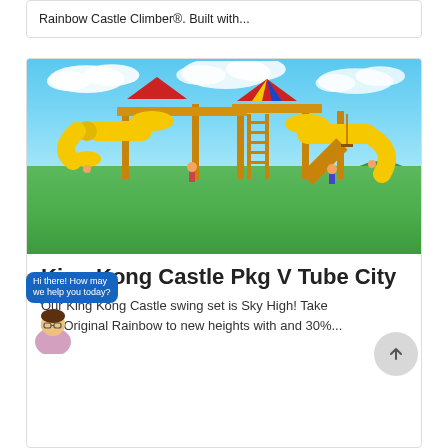Rainbow Castle Climber®. Built with...
[Figure (photo): Large colorful playground set called King Kong Castle Pkg V Tube City with bright yellow tube slides, wooden climbing structures, ladders, and children playing, set against a blue sky with white clouds and green grass]
King Kong Castle Pkg V Tube City
Our King Kong Castle swing set is Sky High! Take our Original Rainbow to new heights with and 30%...